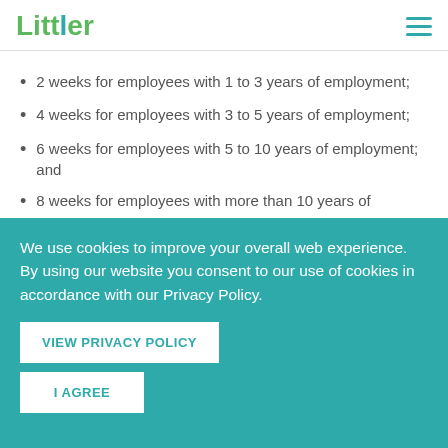Littler
2 weeks for employees with 1 to 3 years of employment;
4 weeks for employees with 3 to 5 years of employment;
6 weeks for employees with 5 to 10 years of employment; and
8 weeks for employees with more than 10 years of employment.
We use cookies to improve your overall web experience. By using our website you consent to our use of cookies in accordance with our Privacy Policy.
VIEW PRIVACY POLICY
I AGREE